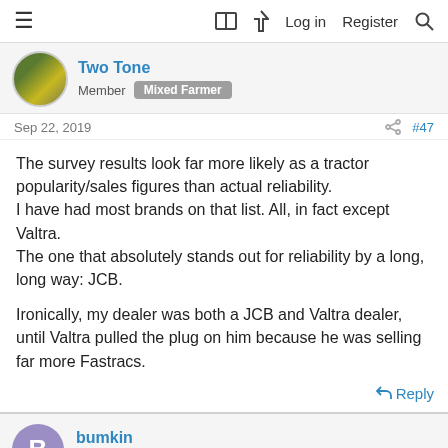≡  🔖 ⚡ Log in  Register  🔍
Two Tone
Member  Mixed Farmer
Sep 22, 2019  #47
The survey results look far more likely as a tractor popularity/sales figures than actual reliability.
I have had most brands on that list. All, in fact except Valtra.
The one that absolutely stands out for reliability by a long, long way: JCB.

Ironically, my dealer was both a JCB and Valtra dealer, until Valtra pulled the plug on him because he was selling far more Fastracs.
↩ Reply
bumkin
Member  Mixed Farmer